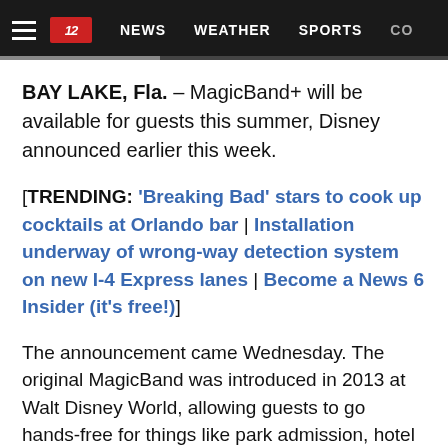NEWS | WEATHER | SPORTS
BAY LAKE, Fla. – MagicBand+ will be available for guests this summer, Disney announced earlier this week.
[TRENDING: 'Breaking Bad' stars to cook up cocktails at Orlando bar | Installation underway of wrong-way detection system on new I-4 Express lanes | Become a News 6 Insider (it's free!)]
The announcement came Wednesday. The original MagicBand was introduced in 2013 at Walt Disney World, allowing guests to go hands-free for things like park admission, hotel room entry, retail and dining.
“After you enter a theme park, MagicBand+ will come alive at various times with color-changing lights, haptic